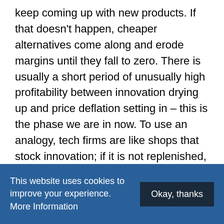keep coming up with new products. If that doesn't happen, cheaper alternatives come along and erode margins until they fall to zero. There is usually a short period of unusually high profitability between innovation drying up and price deflation setting in – this is the phase we are in now. To use an analogy, tech firms are like shops that stock innovation; if it is not replenished, there is there is a short-term uplift in cashflow because more money is coming in than going out, but soon they have nothing left to sell and therefore no means to generate any revenue. De-stocking is a strategy shops use when they are about to close down, not expand. Some vendors
This website uses cookies to improve your experience. More Information  Okay, thanks